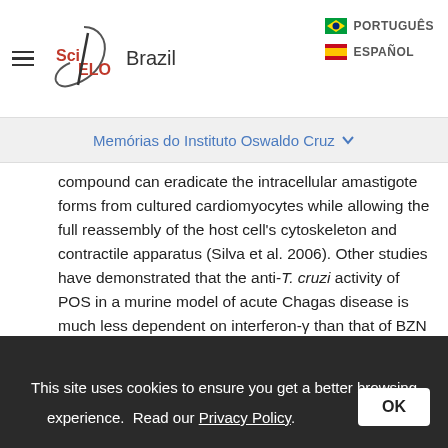SciELO Brazil — PORTUGUÊS | ESPAÑOL
Memórias do Instituto Oswaldo Cruz
compound can eradicate the intracellular amastigote forms from cultured cardiomyocytes while allowing the full reassembly of the host cell's cytoskeleton and contractile apparatus (Silva et al. 2006). Other studies have demonstrated that the anti-T. cruzi activity of POS in a murine model of acute Chagas disease is much less dependent on interferon-γ than that of BZN (Ferraz et al. 2007). It has also been shown that ablation of TCD4+, TCD8+ and B lymphocytes has distinct effects on POS and BZN activity in the same experimental model (Ferraz et al. 2009). POS efficacy was
This site uses cookies to ensure you get a better browsing experience. Read our Privacy Policy.